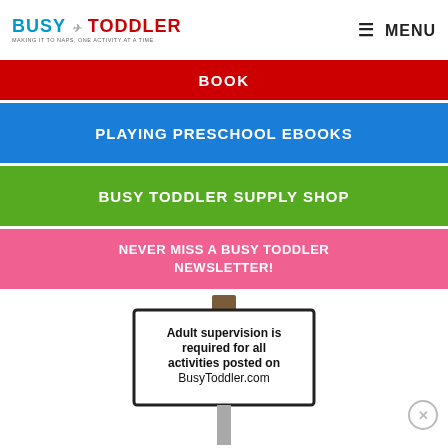BUSY TODDLER — MAKING IT TO NAPS, ONE ACTIVITY AT A TIME | MENU
BOOK
PLAYING PRESCHOOL EBOOKS
BUSY TODDLER SUPPLY SHOP
NEVER MISS A BUSY TODDLER NEWSLETTER!
[Figure (illustration): A road sign on a post that reads: Adult supervision is required for all activities posted on BusyToddler.com]